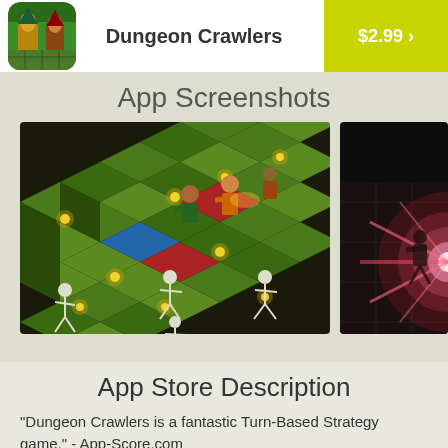[Figure (logo): Dungeon Crawlers app icon showing game characters on a green dungeon tile background]
Dungeon Crawlers
$2.99 ›
App Screenshots
[Figure (screenshot): Dungeon Crawlers gameplay screenshot showing an isometric view of a dungeon tile board with skeletal enemies and hero characters, with glowing yellow candles on the tiles]
[Figure (screenshot): Partial second screenshot showing dark dungeon scene with a bright red/pink magical light effect]
App Store Description
"Dungeon Crawlers is a fantastic Turn-Based Strategy game." - App-Score.com
"Great turn-based combat that makes you think."